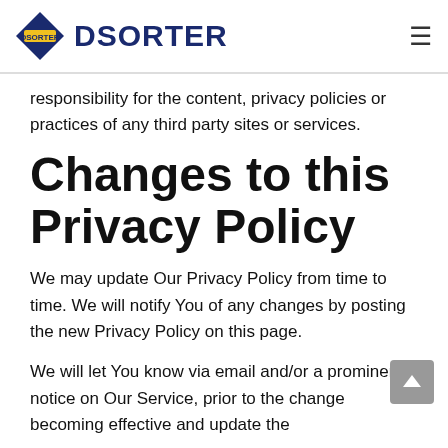DSORTER
responsibility for the content, privacy policies or practices of any third party sites or services.
Changes to this Privacy Policy
We may update Our Privacy Policy from time to time. We will notify You of any changes by posting the new Privacy Policy on this page.
We will let You know via email and/or a prominent notice on Our Service, prior to the change becoming effective and update the